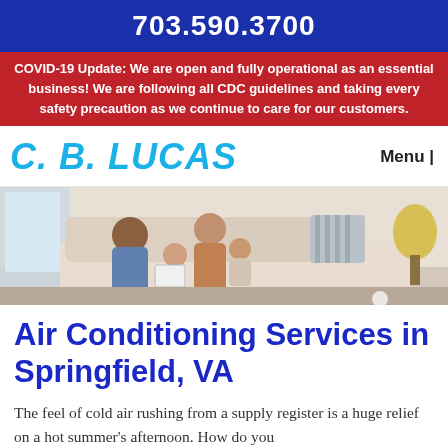703.590.3700
COVID-19 Update: We are open and fully operational as an essential business! We are following all CDC guidelines and taking every safety precaution as we continue to care for our customers.
C. B. LUCAS
Menu |
[Figure (photo): Family sitting on a couch together, man and woman with two young children, warm indoor setting with pillows]
Air Conditioning Services in Springfield, VA
The feel of cold air rushing from a supply register is a huge relief on a hot summer's afternoon. How do you